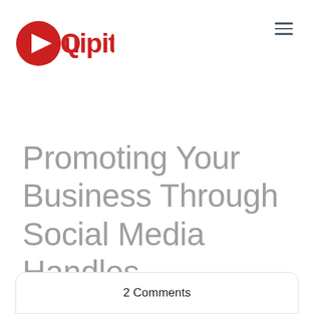[Figure (logo): Quipit Media logo: red circle with white play triangle, text 'Quipit' in red and 'media' rotated vertically in black]
Promoting Your Business Through Social Media Handles
November 17, 2020   Blog
2 Comments